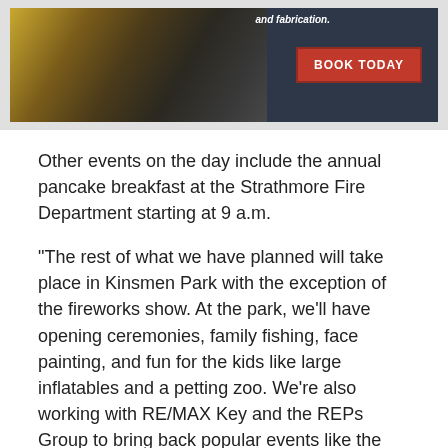[Figure (photo): Advertisement banner showing a person working with metal/fabrication equipment, dark background with 'and fabrication.' text and a red 'BOOK TODAY' button]
Other events on the day include the annual pancake breakfast at the Strathmore Fire Department starting at 9 a.m.
“The rest of what we have planned will take place in Kinsmen Park with the exception of the fireworks show. At the park, we’ll have opening ceremonies, family fishing, face painting, and fun for the kids like large inflatables and a petting zoo. We’re also working with RE/MAX Key and the REPs Group to bring back popular events like the Kids Bike Parade,” said Jensen.
“We’re excited to be welcoming the Steve Pointmeier Band and other live entertainers,” she said.
The entire day will wrap up with the fireworks display!